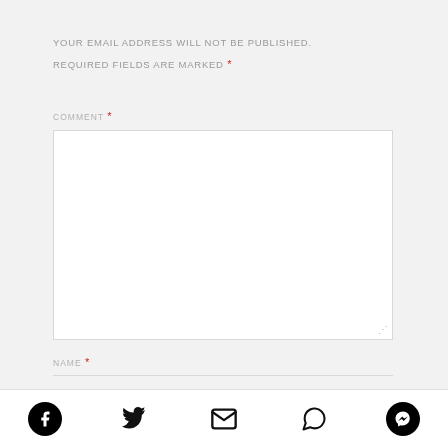YOUR EMAIL ADDRESS WILL NOT BE PUBLISHED.
REQUIRED FIELDS ARE MARKED *
COMMENT *
[Figure (other): Empty comment textarea input field with resize handle]
NAME *
[Figure (other): Social share icons row: Facebook, Twitter, Email, WhatsApp, Messenger]